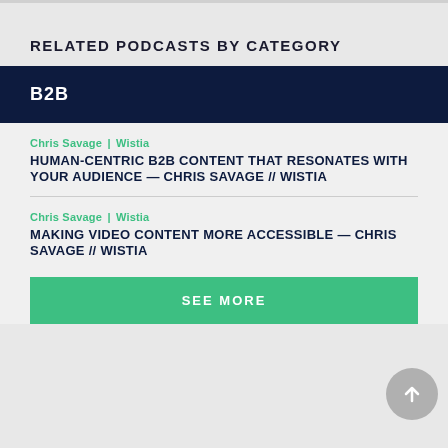RELATED PODCASTS BY CATEGORY
B2B
Chris Savage | Wistia
HUMAN-CENTRIC B2B CONTENT THAT RESONATES WITH YOUR AUDIENCE — CHRIS SAVAGE // WISTIA
Chris Savage | Wistia
MAKING VIDEO CONTENT MORE ACCESSIBLE — CHRIS SAVAGE // WISTIA
SEE MORE